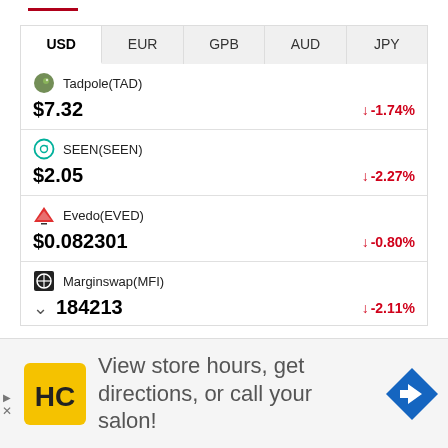| USD | EUR | GPB | AUD | JPY |
| --- | --- | --- | --- | --- |
| Tadpole(TAD) |  |  |  |  |
| $7.32 |  |  |  | ↓ -1.74% |
| SEEN(SEEN) |  |  |  |  |
| $2.05 |  |  |  | ↓ -2.27% |
| Evedo(EVED) |  |  |  |  |
| $0.082301 |  |  |  | ↓ -0.80% |
| Marginswap(MFI) |  |  |  |  |
| 184213 |  |  |  | ↓ -2.11% |
View store hours, get directions, or call your salon!